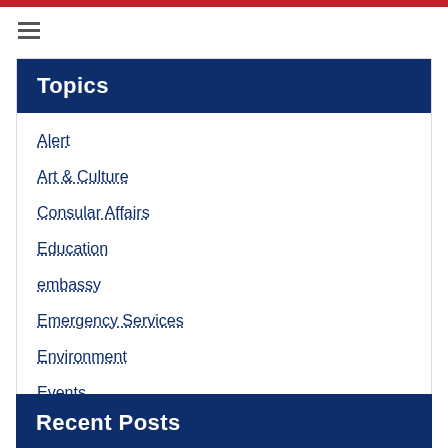≡
Topics
Alert
Art & Culture
Consular Affairs
Education
embassy
Emergency Services
Environment
Events
Show More ∨
Recent Posts